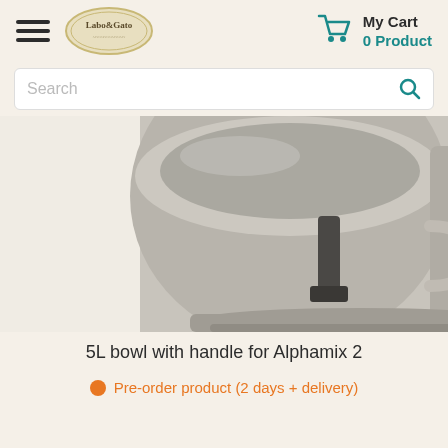Labo&Gato | My Cart 0 Product
Search
[Figure (photo): A stainless steel 5L mixing bowl with a black handle attachment, part of the Alphamix 2 mixer. The bowl is shown from a close-up angle revealing the bowl body and the mixer base.]
5L bowl with handle for Alphamix 2
Pre-order product (2 days + delivery)